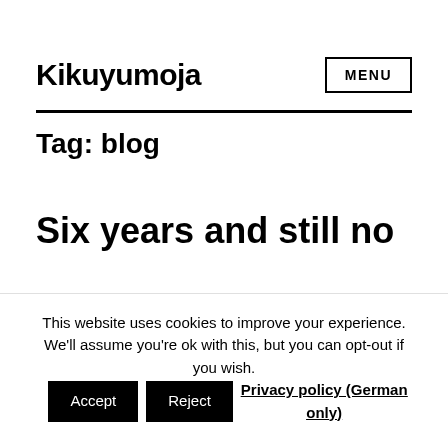Kikuyumoja
Tag: blog
Six years and still no —
This website uses cookies to improve your experience. We'll assume you're ok with this, but you can opt-out if you wish. Accept  Reject  Privacy policy (German only)